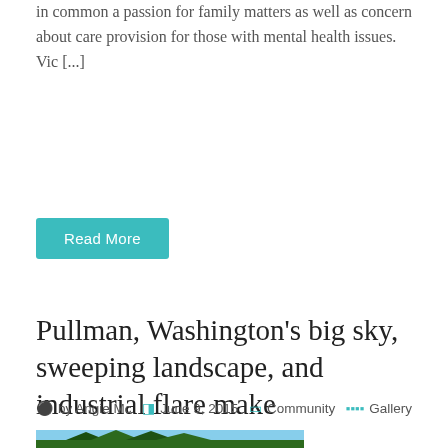in common a passion for family matters as well as concern about care provision for those with mental health issues. Vic [...]
Read More
Pullman, Washington's big sky, sweeping landscape, and industrial flare make photography a breeze.
by Angie Mc  June 9, 2015  Community  Gallery
[Figure (photo): Partial view of trees against a blue sky, bottom of page]